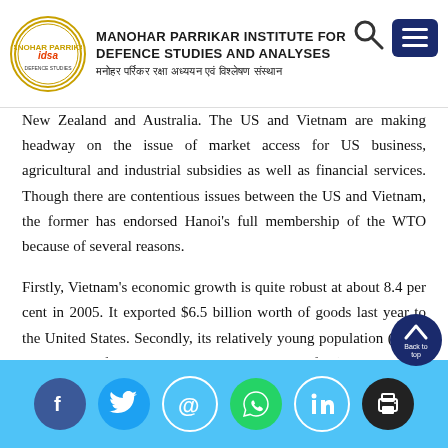MANOHAR PARRIKAR INSTITUTE FOR DEFENCE STUDIES AND ANALYSES — मनोहर पर्रिकर रक्षा अध्ययन एवं विश्लेषण संस्थान
New Zealand and Australia. The US and Vietnam are making headway on the issue of market access for US business, agricultural and industrial subsidies as well as financial services. Though there are contentious issues between the US and Vietnam, the former has endorsed Hanoi's full membership of the WTO because of several reasons.
Firstly, Vietnam's economic growth is quite robust at about 8.4 per cent in 2005. It exported $6.5 billion worth of goods last year to the United States. Secondly, its relatively young population (about 80 per cent of its population is below the age of 30) means that it could be a very good manufacturing centre for US busin...
Social media share icons: Facebook, Twitter, Email, WhatsApp, LinkedIn, Print